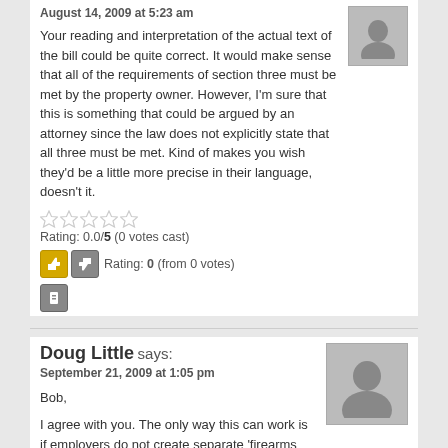August 14, 2009 at 5:23 am
Your reading and interpretation of the actual text of the bill could be quite correct. It would make sense that all of the requirements of section three must be met by the property owner. However, I'm sure that this is something that could be argued by an attorney since the law does not explicitly state that all three must be met. Kind of makes you wish they'd be a little more precise in their language, doesn't it.
Rating: 0.0/5 (0 votes cast)
Rating: 0 (from 0 votes)
Doug Little says:
September 21, 2009 at 1:05 pm
Bob,
I agree with you. The only way this can work is if employers do not create separate 'firearms only' parking area.
Doug
Rating: 0.0/5 (0 votes cast)